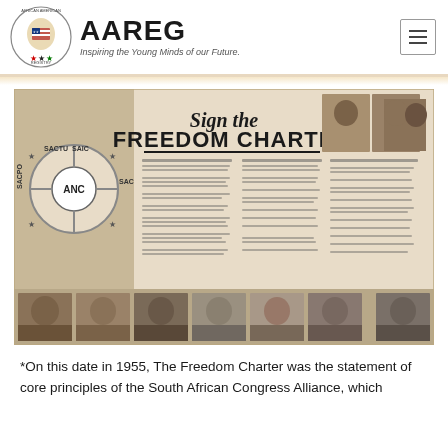AAREG — Inspiring the Young Minds of our Future.
[Figure (photo): Historical promotional image with text 'Sign the Freedom Charter' with ANC/SACTU/SAIC/SACPO/SACOD logo, columns of text clauses, portraits of leaders at top, and a row of portrait photographs at the bottom.]
*On this date in 1955, The Freedom Charter was the statement of core principles of the South African Congress Alliance, which